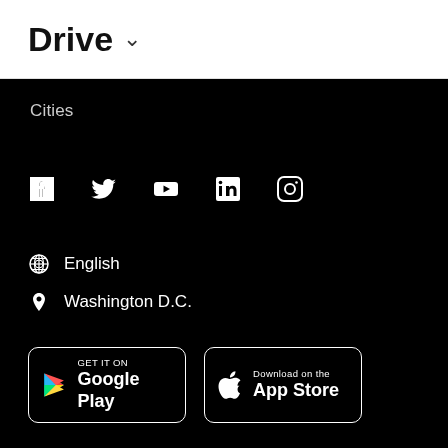Drive
Cities
[Figure (other): Social media icons row: Facebook, Twitter, YouTube, LinkedIn, Instagram]
English
Washington D.C.
[Figure (other): GET IT ON Google Play button]
[Figure (other): Download on the App Store button]